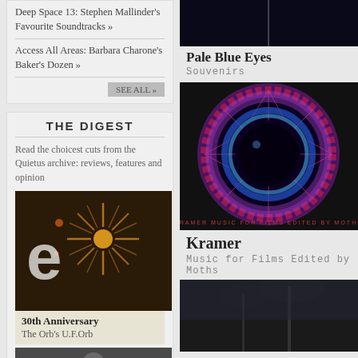Deep Space 13: Stephen Mallinder's Favourite Soundtracks »
Access All Areas: Barbara Charone's Baker's Dozen »
THE DIGEST
Read the choicest cuts from the Quietus archive: reviews, features and opinion
[Figure (photo): The Orb's U.F.Orb album artwork - starburst/firework image on dark background]
30th Anniversary
The Orb's U.F.Orb
[Figure (photo): Portrait photo of person with sunglasses]
[Figure (photo): Dark album cover - Pale Blue Eyes by Souvenirs]
Pale Blue Eyes
Souvenirs
[Figure (photo): Kramer - Music for Films Edited by Moths album artwork, colorful circular eye/iris image]
Kramer
Music for Films Edited by Moths
[Figure (photo): Dark atmospheric photo with palm trees]